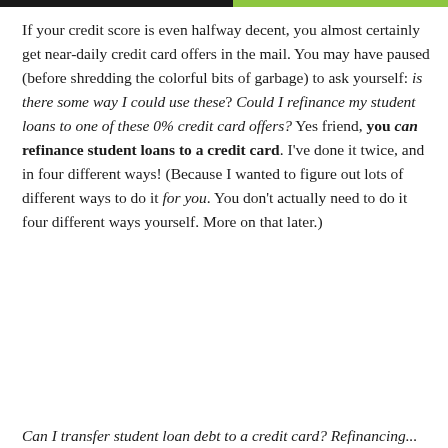If your credit score is even halfway decent, you almost certainly get near-daily credit card offers in the mail. You may have paused (before shredding the colorful bits of garbage) to ask yourself: is there some way I could use these? Could I refinance my student loans to one of these 0% credit card offers? Yes friend, you can refinance student loans to a credit card. I've done it twice, and in four different ways! (Because I wanted to figure out lots of different ways to do it for you. You don't actually need to do it four different ways yourself. More on that later.)
Can I transfer student loan debt to a credit card? Refinancing...